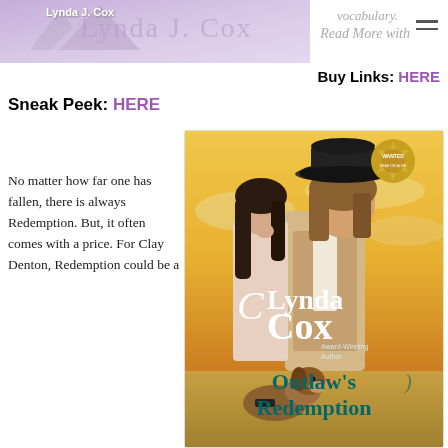[Figure (illustration): Lynda J. Cox author website header with mountain logo and purple/lavender banner image on the left side, and navigation hamburger menu on the right.]
vocabulary.
Read More with
Buy Links: HERE
Sneak Peek: HERE
[Figure (illustration): Book cover for 'Outlaw's Redemption' by Lynda Cox, Award-Winning Author. Shows a woman with dark hair and a man in a black cowboy hat with a Wanted badge, a dog in the foreground, against a golden sunset sky.]
No matter how far one has fallen, there is always Redemption. But, it often comes with a price. For Clay Denton, Redemption could be a